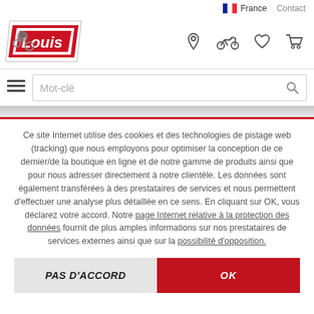France   Contact
[Figure (logo): Louis moto logo with motorcyclist graphic, red and white with grey bevel]
[Figure (infographic): Navigation icons: location pin, motorcycle, heart/wishlist, shopping cart]
Mot-clé (search box with hamburger menu)
Ce site Internet utilise des cookies et des technologies de pistage web (tracking) que nous employons pour optimiser la conception de ce dernier/de la boutique en ligne et de notre gamme de produits ainsi que pour nous adresser directement à notre clientèle. Les données sont également transférées à des prestataires de services et nous permettent d'effectuer une analyse plus détaillée en ce sens. En cliquant sur OK, vous déclarez votre accord. Notre page Internet relative à la protection des données fournit de plus amples informations sur nos prestataires de services externes ainsi que sur la possibilité d'opposition.
PAS D'ACCORD
OK